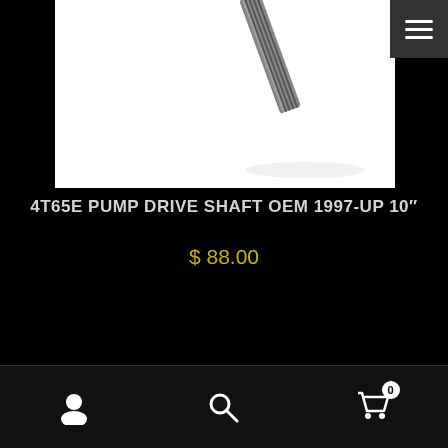[Figure (photo): Close-up photo of a 4T65E pump drive shaft against a white background]
4T65E PUMP DRIVE SHAFT OEM 1997-UP 10"
$ 88.00
Add to cart
Add Product Filter
[Figure (photo): Photo of a transmission component showing pump housing with bolt holes on a rusty/metal surface]